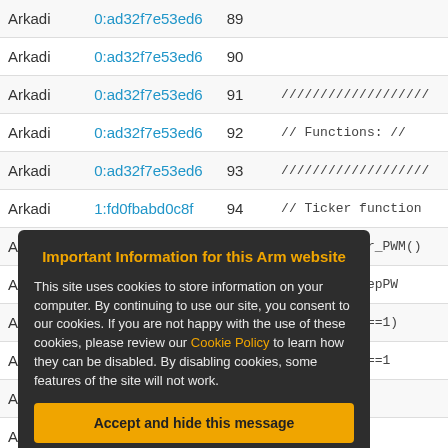| Name | Address | Line | Code |
| --- | --- | --- | --- |
| Arkadi | 0:ad32f7e53ed6 | 89 |  |
| Arkadi | 0:ad32f7e53ed6 | 90 |  |
| Arkadi | 0:ad32f7e53ed6 | 91 | /////////////////// |
| Arkadi | 0:ad32f7e53ed6 | 92 | // Functions: // |
| Arkadi | 0:ad32f7e53ed6 | 93 | /////////////////// |
| Arkadi | 1:fd0fbabd0c8f | 94 | // Ticker function |
| Arkadi | 0:ad32f7e53ed6 | 95 | void Stepper_PWM() |
| Arkadi | 0:ad32f7e53ed6 | 96 | StepPWM=!StepPW |
| Arkadi | 0:ad32f7e53ed6 | 97 | if (StepPWM==1) |
| Arkadi | 0:ad32f7e53ed6 | 98 | if (StepDir==1 |
| Arkadi | 0:ad32f7e53ed6 | 99 | StepperPos |
| Arkadi | 0:ad32f7e53ed6 | 100 | }else{ |
Important Information for this Arm website
This site uses cookies to store information on your computer. By continuing to use our site, you consent to our cookies. If you are not happy with the use of these cookies, please review our Cookie Policy to learn how they can be disabled. By disabling cookies, some features of the site will not work.
Accept and hide this message